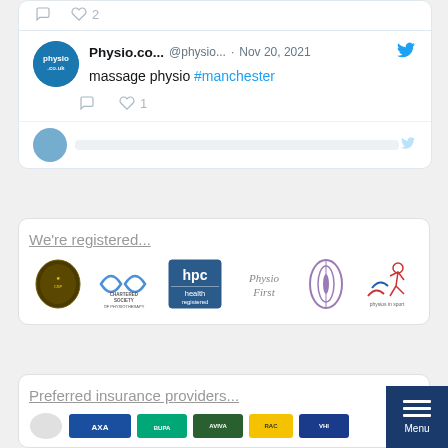[Figure (screenshot): Twitter/social media feed screenshot showing a tweet from Physio.co... @physio... dated Nov 20, 2021 with text 'massage physio #manchester', showing reply and like icons (1 like). Below is a partial tweet. The card shows the tweet interface with reply and heart action icons.]
We're registered...
[Figure (logo): Row of professional registration logos: a crest/badge logo, Chartered Society of Physiotherapy logo, HPC registered logo, PhysioFirst logo, a purple oval logo, and Physios in Sport logo.]
Preferred insurance providers...
[Figure (logo): Row of insurance provider logos (partially visible at bottom of page).]